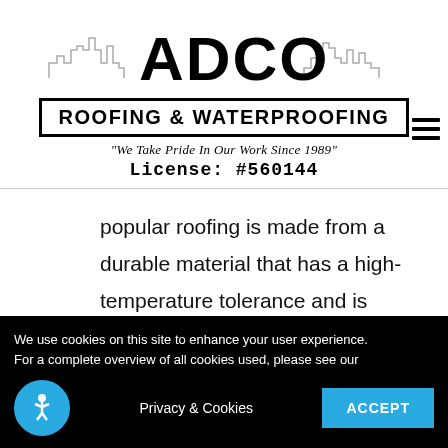[Figure (logo): ADCO Roofing & Waterproofing company logo with city skyline silhouette, large bold ADCO text, banner reading ROOFING & WATERPROOFING, tagline 'We Take Pride In Our Work Since 1989', and License: #560144]
popular roofing is made from a durable material that has a high-temperature tolerance and is resistant to ozone, UV, and extreme chemical exposure.
We use cookies on this site to enhance your user experience. For a complete overview of all cookies used, please see our Privacy & Cookies ACCEPT